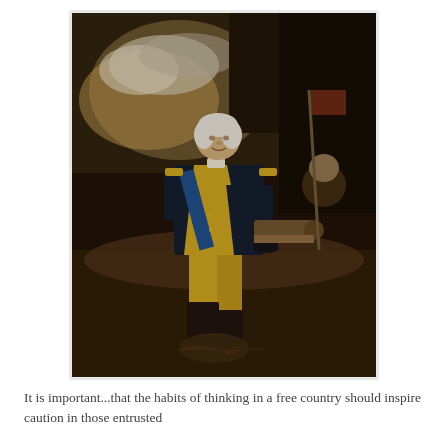[Figure (photo): A full-length oil portrait painting of George Washington in military uniform — dark navy coat with gold/yellow facings and a blue sash across his chest, yellow breeches, black boots — standing with one hand on his hip and the other resting on a cannon. Background shows a stormy sky with a battlefield scene. Another figure is partially visible on the right.]
It is important...that the habits of thinking in a free country should inspire caution in those entrusted